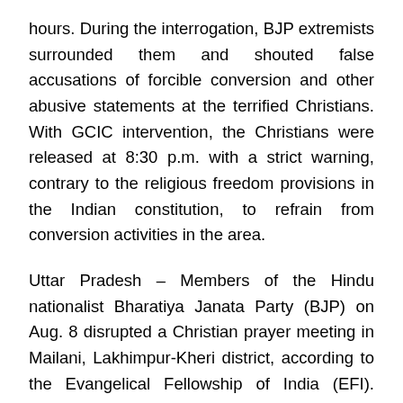hours. During the interrogation, BJP extremists surrounded them and shouted false accusations of forcible conversion and other abusive statements at the terrified Christians. With GCIC intervention, the Christians were released at 8:30 p.m. with a strict warning, contrary to the religious freedom provisions in the Indian constitution, to refrain from conversion activities in the area.
Uttar Pradesh – Members of the Hindu nationalist Bharatiya Janata Party (BJP) on Aug. 8 disrupted a Christian prayer meeting in Mailani, Lakhimpur-Kheri district, according to the Evangelical Fellowship of India (EFI). Nearly 25 BJP extremists accompanied by police gathered at 11 a.m. at Life Prayer Centre, where nearly 600 Christians had congregated for worship. The intolerant Hindus shouted slogans and demanded that Pastor Robert